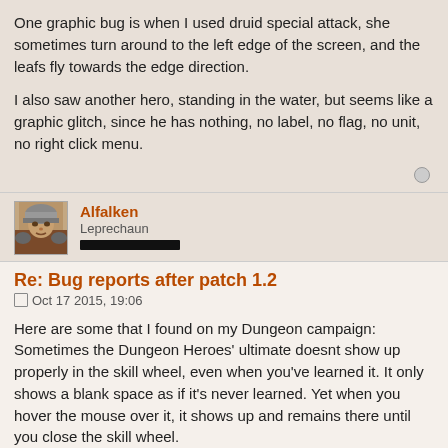One graphic bug is when I used druid special attack, she sometimes turn around to the left edge of the screen, and the leafs fly towards the edge direction.
I also saw another hero, standing in the water, but seems like a graphic glitch, since he has nothing, no label, no flag, no unit, no right click menu.
Alfalken
Leprechaun
Re: Bug reports after patch 1.2
Oct 17 2015, 19:06
Here are some that I found on my Dungeon campaign:
Sometimes the Dungeon Heroes' ultimate doesnt show up properly in the skill wheel, even when you've learned it. It only shows a blank space as if it's never learned. Yet when you hover the mouse over it, it shows up and remains there until you close the skill wheel.
Shadow Lurker's effect (it's called harrowing vision, I think? Can't quite remember it properly on top of my head) doesn't work most of the time, it seems. From its description, I think it should give a damage over time effect like the Spell Damage, but it doesn't seem to do anything. Not...